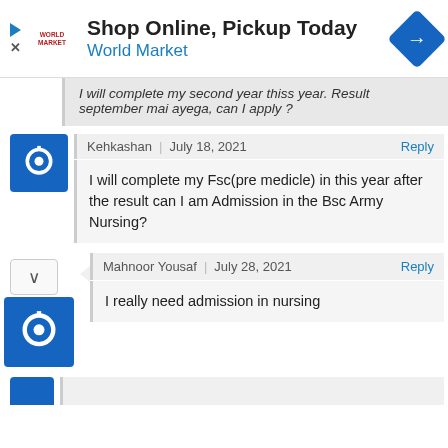[Figure (other): World Market advertisement banner: logo on left, 'Shop Online, Pickup Today' title, 'World Market' subtitle in blue, navigation arrow icon on right]
I will complete my second year thiss year. Result september mai ayega, can I apply ?
Kehkashan | July 18, 2021 Reply
I will complete my Fsc(pre medicle) in this year after the result can I am Admission in the Bsc Army Nursing?
Mahnoor Yousaf | July 28, 2021 Reply
I really need admission in nursing